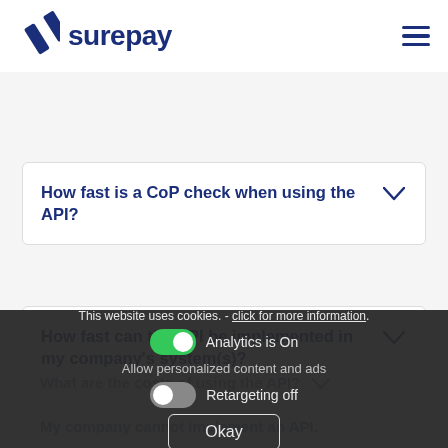surepay
How fast is a CoP check when using the API?
How fast can the API be implemented in my company's system(s)?
This website uses cookies. - click for more information.
Analytics is On
Allow personalized content and ads
Retargeting off
Okay
What are the costs of using the API?
My company cannot implement an API. Is there an alternative way to use t...